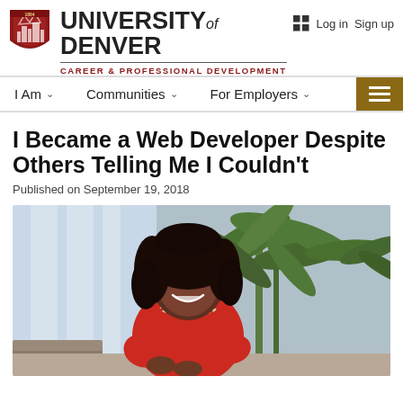University of Denver — Career & Professional Development
I Became a Web Developer Despite Others Telling Me I Couldn't
Published on September 19, 2018
[Figure (photo): A young Black woman in a red top and pearl necklace, smiling, seated in a bright office or lobby setting with a large tropical plant in the background.]